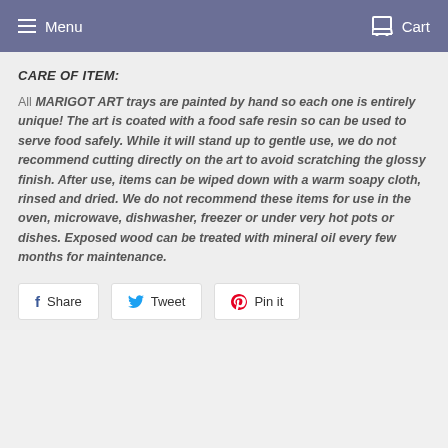Menu   Cart
CARE OF ITEM:
All MARIGOT ART trays are painted by hand so each one is entirely unique! The art is coated with a food safe resin so can be used to serve food safely. While it will stand up to gentle use, we do not recommend cutting directly on the art to avoid scratching the glossy finish. After use, items can be wiped down with a warm soapy cloth, rinsed and dried. We do not recommend these items for use in the oven, microwave, dishwasher, freezer or under very hot pots or dishes. Exposed wood can be treated with mineral oil every few months for maintenance.
Share
Tweet
Pin it